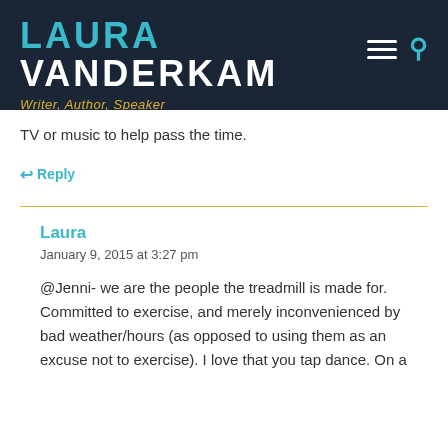LAURA VANDERKAM – Writer, Author, Speaker
TV or music to help pass the time.
↩ Reply
Laura
January 9, 2015 at 3:27 pm
@Jenni- we are the people the treadmill is made for. Committed to exercise, and merely inconvenienced by bad weather/hours (as opposed to using them as an excuse not to exercise). I love that you tap dance. On a